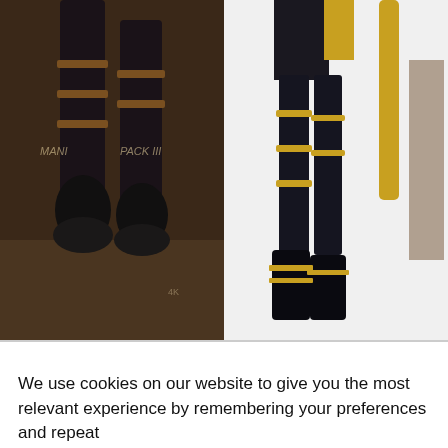[Figure (illustration): Game artwork showing lower body of fighting game character(s) in dark outfit with brown/gold straps and boots, KOF MI game art]
[Figure (illustration): Game artwork showing lower body of fighting game character in black and yellow outfit with straps and boots, King of Fighters game art, cropped at right edge]
UFS KOF MI (2006)
King Of Fighters: M
We use cookies on our website to give you the most relevant experience by remembering your preferences and repeat
Privacy & Cookies: This site uses cookies. By continuing to use this website, you agree to their use.
To find out more, including how to control cookies, see here: Cookie Policy
Close and accept